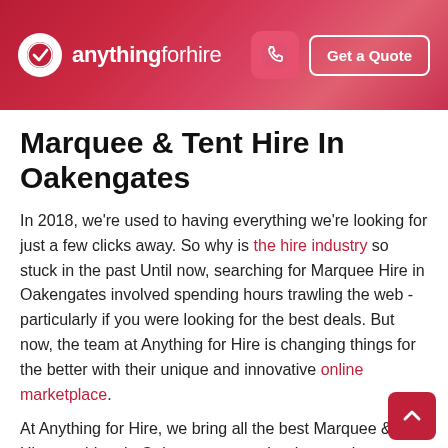anythingforhire — Get a Quote
Marquee & Tent Hire In Oakengates
In 2018, we're used to having everything we're looking for just a few clicks away. So why is the hire industry so stuck in the past Until now, searching for Marquee Hire in Oakengates involved spending hours trawling the web - particularly if you were looking for the best deals. But now, the team at Anything for Hire is changing things for the better with their unique and innovative online marketplace.
At Anything for Hire, we bring all the best Marquee & Tent Hire providers in Oakengates together in one place. So whether you're looking for the best prices, the best...